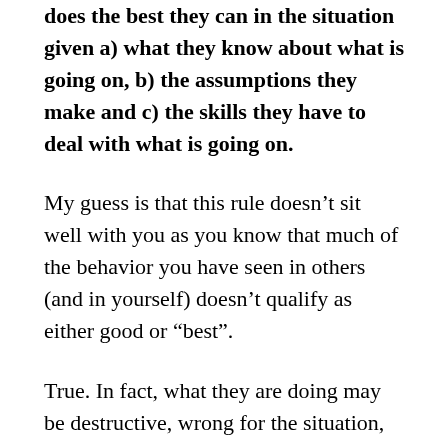does the best they can in the situation given a) what they know about what is going on, b) the assumptions they make and c) the skills they have to deal with what is going on.
My guess is that this rule doesn't sit well with you as you know that much of the behavior you have seen in others (and in yourself) doesn't qualify as either good or "best".
True. In fact, what they are doing may be destructive, wrong for the situation, or just unacceptable.
Indeed, I not saying that what they are doing is the best that can be done or even what they should be doing. In many cases, this is usually